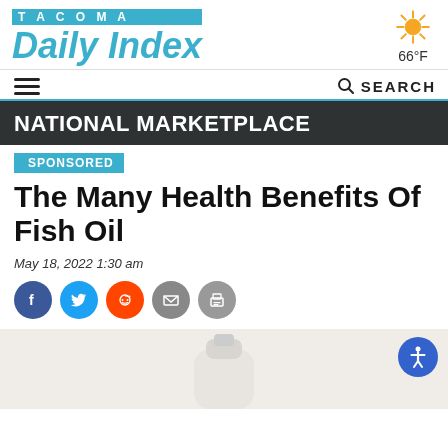TACOMA Daily Index — 66°F
NATIONAL MARKETPLACE
SPONSORED
The Many Health Benefits Of Fish Oil
May 18, 2022 1:30 am
[Figure (screenshot): Social share icons: Facebook, Twitter, Reddit, Email, Print]
[Figure (photo): Partial image of fish oil supplement bottle on light background, with blue accessibility button in top right corner]